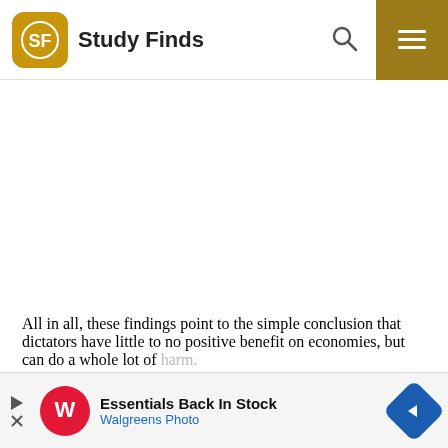Study Finds
[Figure (other): White blank space area (advertisement placeholder)]
All in all, these findings point to the simple conclusion that dictators have little to no positive benefit on economies, but can do a whole lot of harm.
[Figure (other): Walgreens Photo advertisement banner: Essentials Back In Stock]